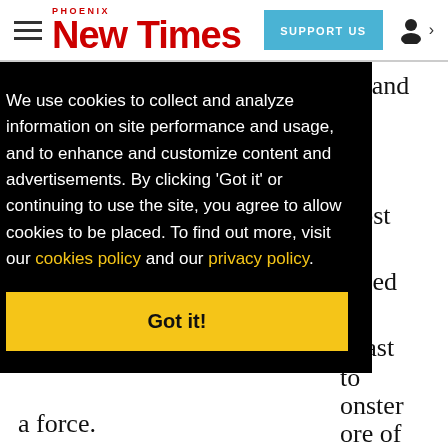Phoenix New Times — SUPPORT US
never got into a sustained rhythm and the Giants defense should get the collective MVP, at most o bed e last to onster ore of a force.
We use cookies to collect and analyze information on site performance and usage, and to enhance and customize content and advertisements. By clicking 'Got it' or continuing to use the site, you agree to allow cookies to be placed. To find out more, visit our cookies policy and our privacy policy. Got it!